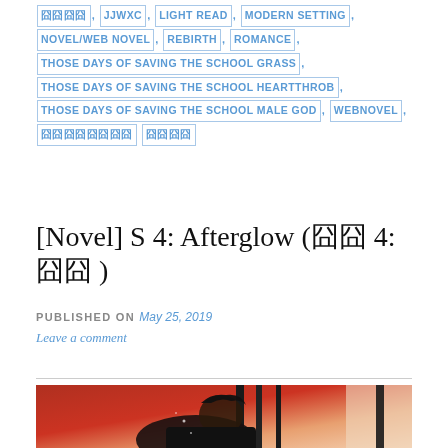囧囧囧囧, JJWXC, LIGHT READ, MODERN SETTING, NOVEL/WEB NOVEL, REBIRTH, ROMANCE, THOSE DAYS OF SAVING THE SCHOOL GRASS, THOSE DAYS OF SAVING THE SCHOOL HEARTTHROB, THOSE DAYS OF SAVING THE SCHOOL MALE GOD, WEBNOVEL, 囧囧囧囧囧囧囧囧囧囧囧囧囧囧
[Novel] S 4: Afterglow (囧囧 4: 囧囧 )
PUBLISHED ON May 25, 2019
Leave a comment
[Figure (illustration): Manga/anime style illustration of a dark-haired character in black clothing against a reddish-orange background with dark vertical elements]